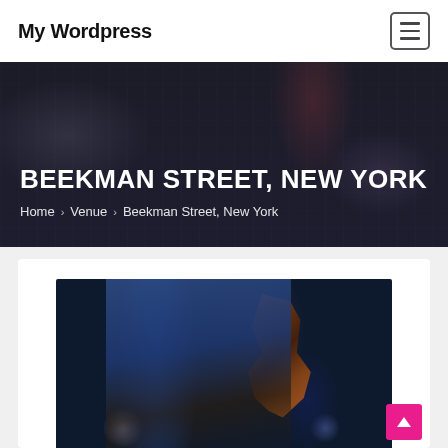My Wordpress
BEEKMAN STREET, NEW YORK
Home › Venue › Beekman Street, New York
[Figure (photo): A guitarist on stage playing an electric guitar, shot from behind/side, with blue stage lighting and bokeh background. Person wearing a blue/grey jacket.]